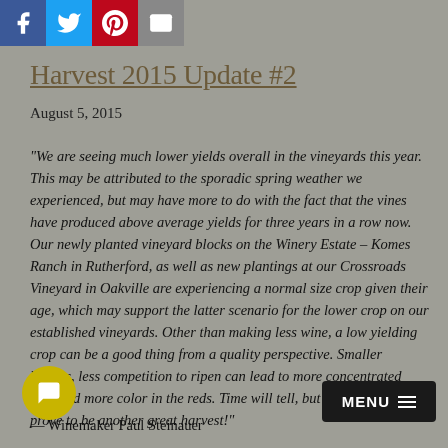[Figure (other): Social media sharing icons: Facebook (blue), Twitter (light blue), Pinterest (red), Email (grey)]
Harvest 2015 Update #2
August 5, 2015
"We are seeing much lower yields overall in the vineyards this year. This may be attributed to the sporadic spring weather we experienced, but may have more to do with the fact that the vines have produced above average yields for three years in a row now. Our newly planted vineyard blocks on the Winery Estate – Komes Ranch in Rutherford, as well as new plantings at our Crossroads Vineyard in Oakville are experiencing a normal size crop given their age, which may support the latter scenario for the lower crop on our established vineyards. Other than making less wine, a low yielding crop can be a good thing from a quality perspective. Smaller berries, less competition to ripen can lead to more concentrated fruit and more color in the reds. Time will tell, but 2015 should prove to be another great harvest!"
— Winemaker Paul Steinauer